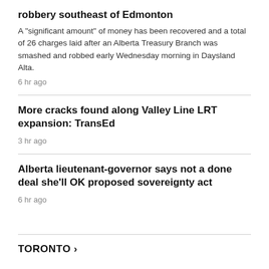robbery southeast of Edmonton
A "significant amount" of money has been recovered and a total of 26 charges laid after an Alberta Treasury Branch was smashed and robbed early Wednesday morning in Daysland Alta.
6 hr ago
More cracks found along Valley Line LRT expansion: TransEd
3 hr ago
Alberta lieutenant-governor says not a done deal she'll OK proposed sovereignty act
6 hr ago
TORONTO ›